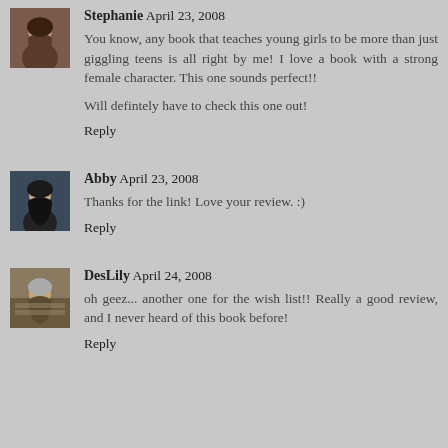Stephanie April 23, 2008
You know, any book that teaches young girls to be more than just giggling teens is all right by me! I love a book with a strong female character. This one sounds perfect!!

Will defintely have to check this one out!
Reply
Abby April 23, 2008
Thanks for the link! Love your review. :)
Reply
DesLily April 24, 2008
oh geez... another one for the wish list!! Really a good review, and I never heard of this book before!
Reply